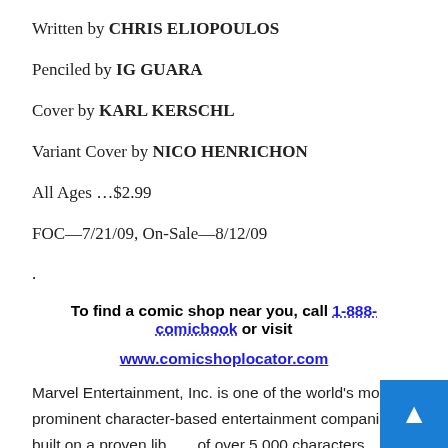Written by CHRIS ELIOPOULOS
Penciled by IG GUARA
Cover by KARL KERSCHL
Variant Cover by NICO HENRICHON
All Ages …$2.99
FOC—7/21/09, On-Sale—8/12/09
.
To find a comic shop near you, call 1-888-comicbook or visit www.comicshoplocator.com
Marvel Entertainment, Inc. is one of the world's most prominent character-based entertainment companies, built on a proven library of over 5,000 characters featured in a variety of media over seventy years...